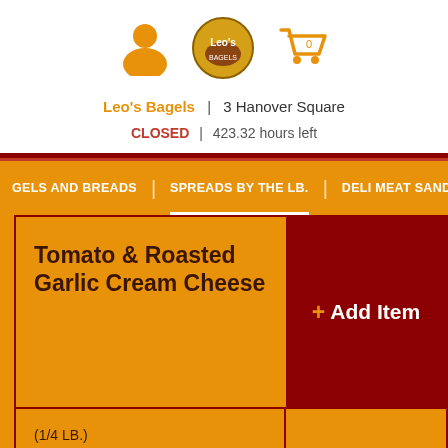[Figure (logo): Leo's Bagels logo with person icon and shopping cart icon in orange]
Leo's Bagels | 3 Hanover Square
CLOSED | 423.32 hours left
BAGELS AND BREADS | SPREADS BY THE LB. | DELI MEAT SANDWICHES
Tomato & Roasted Garlic Cream Cheese
+ Add Item
(1/4 LB.)
$ 3.95